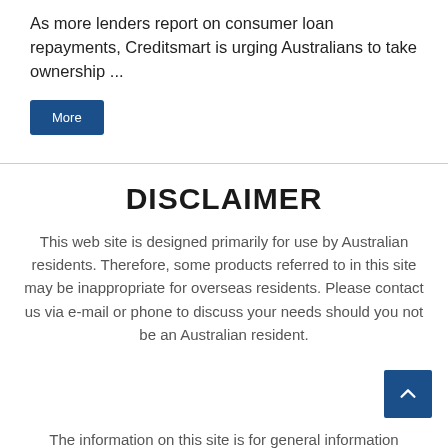As more lenders report on consumer loan repayments, Creditsmart is urging Australians to take ownership ...
More
DISCLAIMER
This web site is designed primarily for use by Australian residents. Therefore, some products referred to in this site may be inappropriate for overseas residents. Please contact us via e-mail or phone to discuss your needs should you not be an Australian resident.
The information on this site is for general information